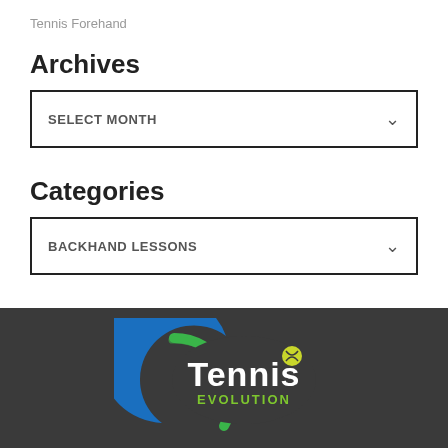Tennis Forehand
Archives
SELECT MONTH
Categories
BACKHAND LESSONS
[Figure (logo): Tennis Evolution logo with blue crescent and green circle arc on dark background, with 'Tennis' in large white/grey text and 'EVOLUTION' in green text below]